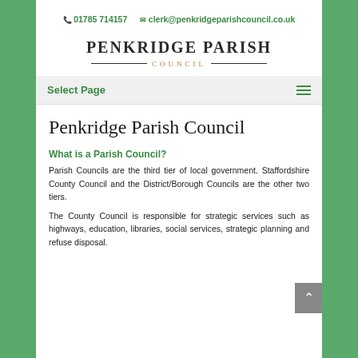📞 01785 714157   ✉ clerk@penkridgeparishcouncil.co.uk
PENKRIDGE PARISH COUNCIL
Select Page
Penkridge Parish Council
What is a Parish Council?
Parish Councils are the third tier of local government. Staffordshire County Council and the District/Borough Councils are the other two tiers.
The County Council is responsible for strategic services such as highways, education, libraries, social services, strategic planning and refuse disposal.